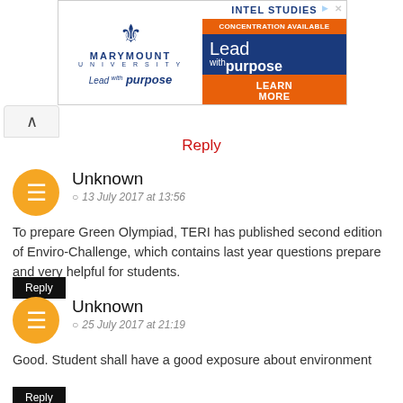[Figure (screenshot): Marymount University advertisement banner with Intel Studies Concentration Available, Lead with purpose, Learn More]
Reply
Unknown
13 July 2017 at 13:56
To prepare Green Olympiad, TERI has published second edition of Enviro-Challenge, which contains last year questions prepare and very helpful for students.
Reply
Unknown
25 July 2017 at 21:19
Good. Student shall have a good exposure about environment
Reply